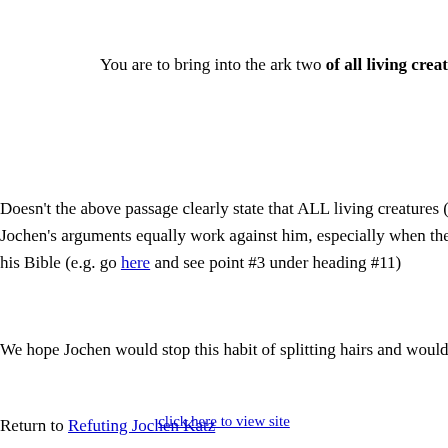You are to bring into the ark two of all living creatures, male
Doesn't the above passage clearly state that ALL living creatures (i.e... Jochen's arguments equally work against him, especially when there... his Bible (e.g. go here and see point #3 under heading #11)
We hope Jochen would stop this habit of splitting hairs and would try
Return to Refuting Jochen Katz
Return to Homepage
click here to view site